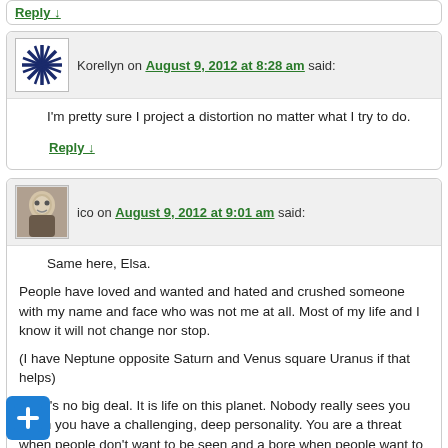Reply ↓
Korellyn on August 9, 2012 at 8:28 am said:
I'm pretty sure I project a distortion no matter what I try to do.
Reply ↓
ico on August 9, 2012 at 9:01 am said:
Same here, Elsa.
People have loved and wanted and hated and crushed someone with my name and face who was not me at all. Most of my life and I know it will not change nor stop.

(I have Neptune opposite Saturn and Venus square Uranus if that helps)

But it's no big deal. It is life on this planet. Nobody really sees you when you have a challenging, deep personality. You are a threat when people don't want to be seen and a bore when people want to stay on the surface, which is most of the time.

Entire lives are spent on the surface.

I learned very early to speak everyone's language, and to never